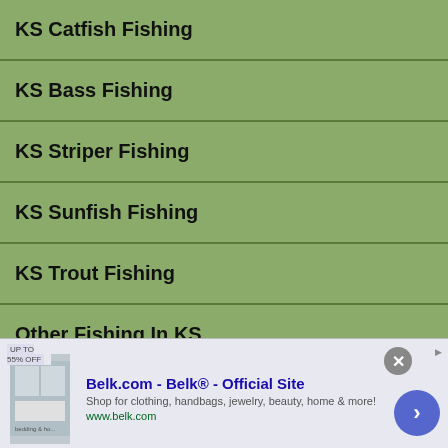KS Catfish Fishing
KS Bass Fishing
KS Striper Fishing
KS Sunfish Fishing
KS Trout Fishing
Other Fishing In KS
Best Places To Fish - KS
Ice Fishing In KS
[Figure (screenshot): Advertisement banner for Belk.com - Belk Official Site. Shows product images, title 'Belk.com - Belk® - Official Site', description 'Shop for clothing, handbags, jewelry, beauty, home & more!', URL 'www.belk.com', with a close button and navigation arrow.]